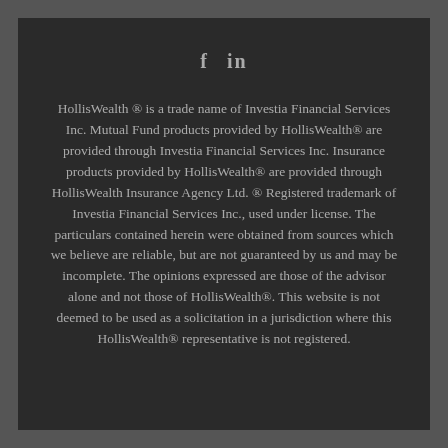[Figure (logo): Social media icons: Facebook (f) and LinkedIn (in)]
HollisWealth ® is a trade name of Investia Financial Services Inc. Mutual Fund products provided by HollisWealth® are provided through Investia Financial Services Inc. Insurance products provided by HollisWealth® are provided through HollisWealth Insurance Agency Ltd. ® Registered trademark of Investia Financial Services Inc., used under license. The particulars contained herein were obtained from sources which we believe are reliable, but are not guaranteed by us and may be incomplete. The opinions expressed are those of the advisor alone and not those of HollisWealth®. This website is not deemed to be used as a solicitation in a jurisdiction where this HollisWealth® representative is not registered.